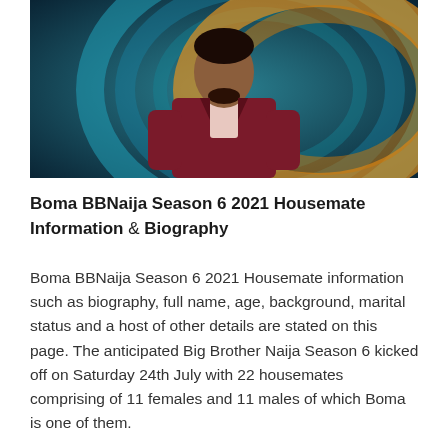[Figure (photo): Portrait photo of Boma, a man in a dark maroon/burgundy suit with a light pink shirt, short curly hair and a beard, posed against a colorful Big Brother Naija circular logo background with teal, gold, and orange colors]
Boma BBNaija Season 6 2021 Housemate Information & Biography
Boma BBNaija Season 6 2021 Housemate information such as biography, full name, age, background, marital status and a host of other details are stated on this page. The anticipated Big Brother Naija Season 6 kicked off on Saturday 24th July with 22 housemates comprising of 11 females and 11 males of which Boma is one of them.